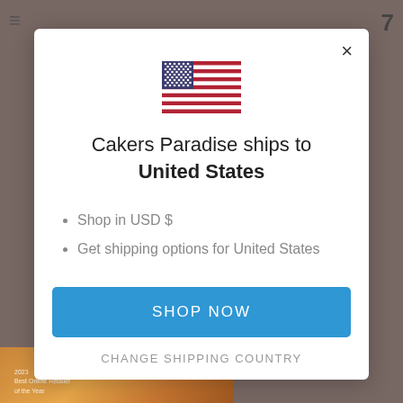[Figure (screenshot): US flag SVG icon centered at top of modal dialog]
Cakers Paradise ships to United States
Shop in USD $
Get shipping options for United States
SHOP NOW
CHANGE SHIPPING COUNTRY